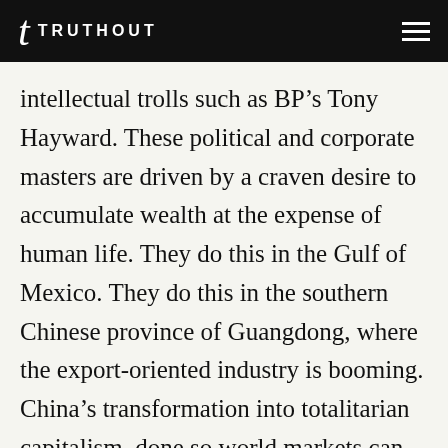TRUTHOUT
intellectual trolls such as BP’s Tony Hayward. These political and corporate masters are driven by a craven desire to accumulate wealth at the expense of human life. They do this in the Gulf of Mexico. They do this in the southern Chinese province of Guangdong, where the export-oriented industry is booming. China’s transformation into totalitarian capitalism, done so world markets can be flooded with cheap consumer goods, is contributing to a dramatic rise in carbon dioxide emissions,